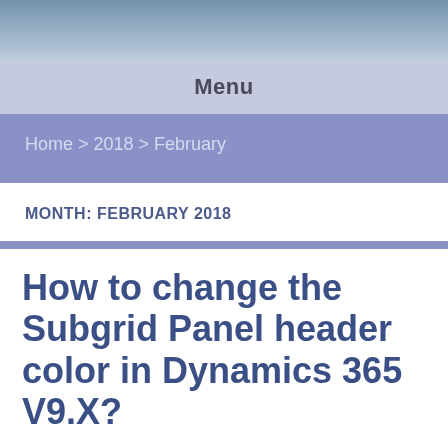[Figure (photo): Header image with blue/grey winter landscape background]
Menu
Home > 2018 > February
MONTH: FEBRUARY 2018
How to change the Subgrid Panel header color in Dynamics 365 V9.X?